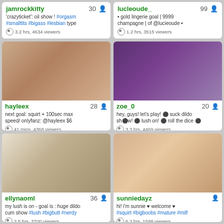jamrockkitty 30 | 'crazyticket': oil show ! #orgasm #smalltits #bigass #lesbian type | 3.2 hrs, 4634 viewers
lucleoude_ 99 | • gold lingerie goal | 9999 champagne | of @lucieoude • | 1.2 hrs, 3515 viewers
[Figure (photo): Webcam thumbnail for hayleex]
[Figure (photo): Webcam thumbnail for zoe_0]
hayleex 28 | next goal: squirt + 100sec max speed/ onlyfanz: @hayleex $6 | 41 mins, 4368 viewers
zoe_0 20 | hey, guys! let's play! suck dildo show! lush on! roll the dice | 3.3 hrs, 4469 viewers
[Figure (photo): Webcam thumbnail for ellynaoml]
[Figure (photo): Webcam thumbnail for sunniedayz]
ellynaoml 36 | my lush is on - goal is : huge dildo cum show #lush #bigbutt #nerdy | 2.5 hrs, 3700 viewers
sunniedayz | hi! i'm sunnie ♥ welcome ♥ #squirt #bigboobs #mature #milf | 6.2 hrs, 1598 viewers